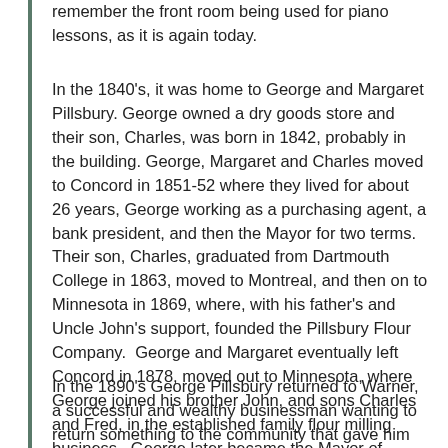remember the front room being used for piano lessons, as it is again today.
In the 1840's, it was home to George and Margaret Pillsbury. George owned a dry goods store and their son, Charles, was born in 1842, probably in the building. George, Margaret and Charles moved to Concord in 1851-52 where they lived for about 26 years, George working as a purchasing agent, a bank president, and then the Mayor for two terms.  Their son, Charles, graduated from Dartmouth College in 1863, moved to Montreal, and then on to Minnesota in 1869, where, with his father's and Uncle John's support, founded the Pillsbury Flour Company.  George and Margaret eventually left Concord in 1878, moved out to Minnesota, where George joined his brother John, and sons Charles and Fred, in the established family flour milling business.  George later became the Mayor of Minneapolis, and John the Governor of Minnesota.
In the 1890's George Pillsbury returned to Warner, a successful and wealthy businessman wanting to return something to the community that gave him his start. George donated the South